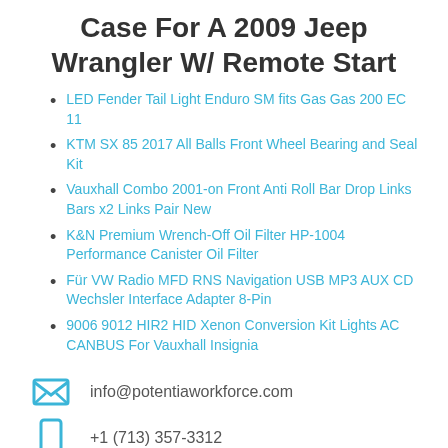Case For A 2009 Jeep Wrangler W/ Remote Start
LED Fender Tail Light Enduro SM fits Gas Gas 200 EC 11
KTM SX 85 2017 All Balls Front Wheel Bearing and Seal Kit
Vauxhall Combo 2001-on Front Anti Roll Bar Drop Links Bars x2 Links Pair New
K&N Premium Wrench-Off Oil Filter HP-1004 Performance Canister Oil Filter
Für VW Radio MFD RNS Navigation USB MP3 AUX CD Wechsler Interface Adapter 8-Pin
9006 9012 HIR2 HID Xenon Conversion Kit Lights AC CANBUS For Vauxhall Insignia
info@potentiaworkforce.com
+1 (713) 357-3312